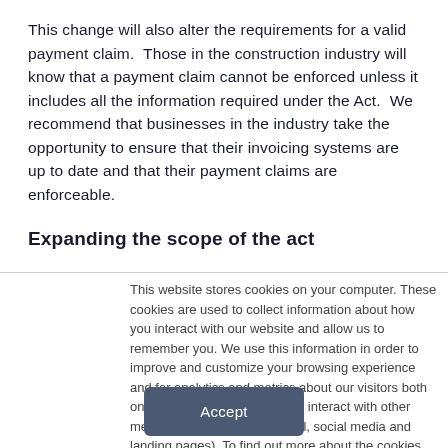This change will also alter the requirements for a valid payment claim.  Those in the construction industry will know that a payment claim cannot be enforced unless it includes all the information required under the Act.  We recommend that businesses in the industry take the opportunity to ensure that their invoicing systems are up to date and that their payment claims are enforceable.
Expanding the scope of the act
This website stores cookies on your computer. These cookies are used to collect information about how you interact with our website and allow us to remember you. We use this information in order to improve and customize your browsing experience and for analytics and metrics about our visitors both on this website and when they interact with other media from us (including email, social media and landing pages). To find out more about the cookies we use, see our Privacy Policy.